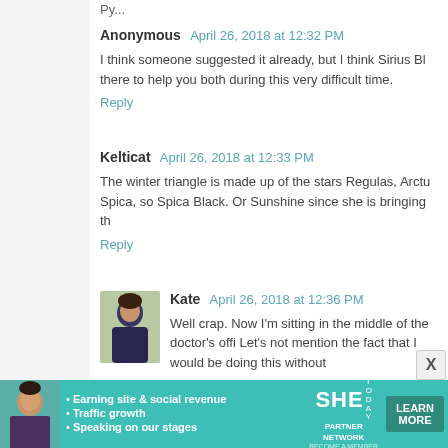Anonymous April 26, 2018 at 12:32 PM
I think someone suggested it already, but I think Sirius Bl... there to help you both during this very difficult time.
Reply
Kelticat April 26, 2018 at 12:33 PM
The winter triangle is made up of the stars Regulas, Arctu... Spica, so Spica Black. Or Sunshine since she is bringing th...
Reply
Kate April 26, 2018 at 12:36 PM
Well crap. Now I'm sitting in the middle of the doctor's offi... Let's not mention the fact that I would be doing this without...
You guys have a new cat. You can deny it all you want and... need them, and it sounds like this is one of those cases. Ju...
Reply
[Figure (infographic): SHE Partner Network advertisement banner with teal background, woman photo, bullet points about earning site & social revenue, traffic growth, speaking on our stages, SHE logo, and LEARN MORE button]